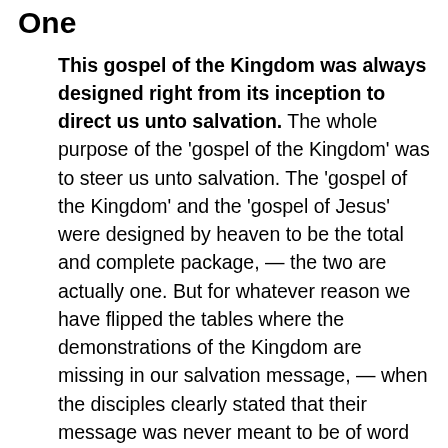One
This gospel of the Kingdom was always designed right from its inception to direct us unto salvation. The whole purpose of the 'gospel of the Kingdom' was to steer us unto salvation. The 'gospel of the Kingdom' and the 'gospel of Jesus' were designed by heaven to be the total and complete package, — the two are actually one. But for whatever reason we have flipped the tables where the demonstrations of the Kingdom are missing in our salvation message, — when the disciples clearly stated that their message was never meant to be of word only. But that the gospel they walked in was totally designed to partner up